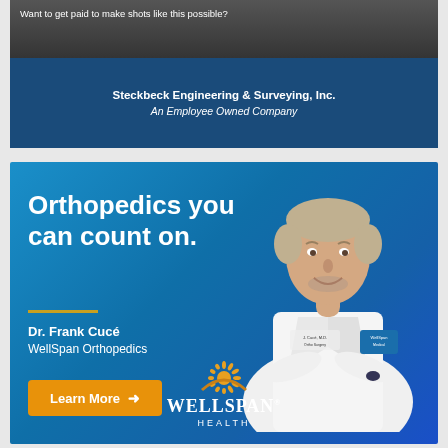[Figure (photo): Dark photo with text overlay: 'Want to get paid to make shots like this possible?']
Steckbeck Engineering & Surveying, Inc.
An Employee Owned Company
[Figure (photo): WellSpan Orthopedics advertisement featuring Dr. Frank Cucé in a white coat with arms crossed. Blue gradient background. Text: 'Orthopedics you can count on.' with Learn More button and WellSpan Health logo.]